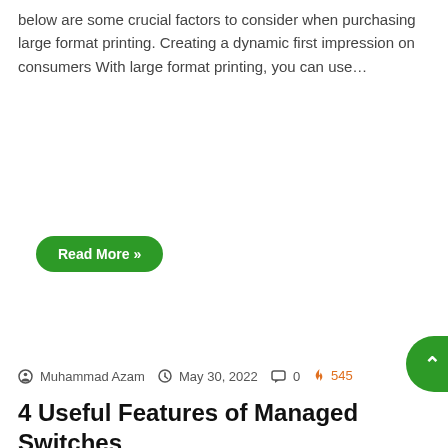below are some crucial factors to consider when purchasing large format printing. Creating a dynamic first impression on consumers With large format printing, you can use…
Read More »
Muhammad Azam  May 30, 2022  0  545
4 Useful Features of Managed Switches